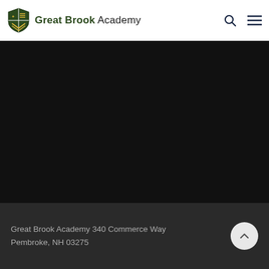Great Brook Academy
[Figure (other): Dark hero/banner image section, nearly fully black]
Great Brook Academy 340 Commerce Way Pembroke, NH 03275